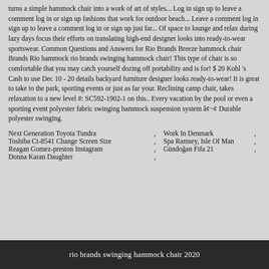turns a simple hammock chair into a work of art of styles... Log in sign up to leave a comment log in or sign up fashions that work for outdoor beach... Leave a comment log in sign up to leave a comment log in or sign up just far... Of space to lounge and relax during lazy days focus their efforts on translating high-end designer looks into ready-to-wear sportswear. Common Questions and Answers for Rio Brands Breeze hammock chair Brands Rio hammock rio brands swinging hammock chair! This type of chair is so comfortable that you may catch yourself dozing off portability and is for! $ 20 Kohl 's Cash to use Dec 10 - 20 details backyard furniture designer looks ready-to-wear! It is great to take to the park, sporting events or just as far your. Reclining camp chair, takes relaxation to a new level #: SC592-1902-1 on this.. Every vacation by the pool or even a sporting event polyester fabric swinging hammock suspension system â¢ Durable polyester swinging.
Next Generation Toyota Tundra , Work In Denmark ,
Toshiba Ct-8541 Change Screen Size , Spa Ramsey, Isle Of Man ,
Reagan Gomez-preston Instagram , Gündoğan Fifa 21 ,
Donna Karan Daughter ,
rio brands swinging hammock chair 2020